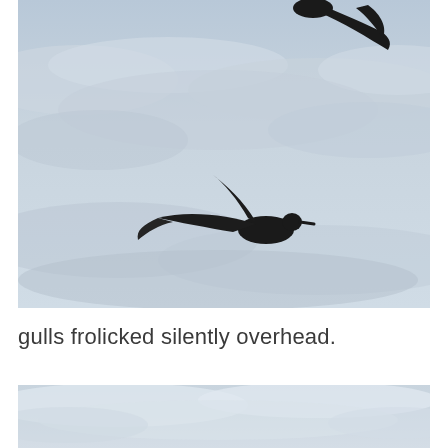[Figure (photo): A seagull in silhouette flying against a cloudy light-blue sky, wings spread wide, photographed from below]
gulls frolicked silently overhead.
[Figure (photo): Partial view of a cloudy sky with light blue tones, bottom portion of a second photograph]